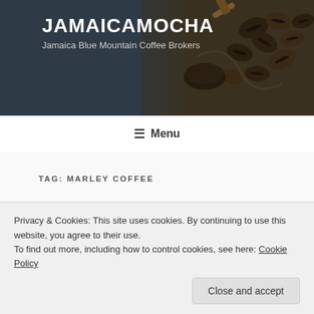JAMAICAMOCHA — Jamaica Blue Mountain Coffee Brokers
☰ Menu
TAG: MARLEY COFFEE
MARCH 4, 2017
Starbucks in Jamaica will target travelers
Privacy & Cookies: This site uses cookies. By continuing to use this website, you agree to their use.
To find out more, including how to control cookies, see here: Cookie Policy
Close and accept